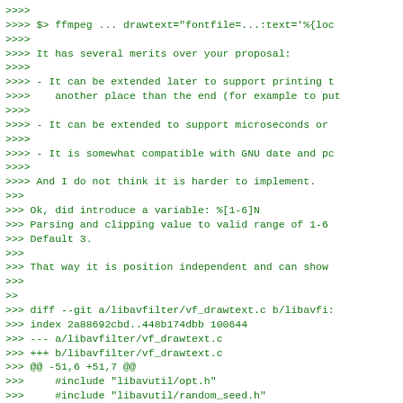>>>>
>>>> $> ffmpeg ... drawtext="fontfile=...:text='%{loc
>>>>
>>>> It has several merits over your proposal:
>>>>
>>>> - It can be extended later to support printing t
>>>>    another place than the end (for example to put
>>>>
>>>> - It can be extended to support microseconds or
>>>>
>>>> - It is somewhat compatible with GNU date and pc
>>>>
>>>> And I do not think it is harder to implement.
>>>
>>> Ok, did introduce a variable: %[1-6]N
>>> Parsing and clipping value to valid range of 1-6
>>> Default 3.
>>>
>>> That way it is position independent and can show
>>>
>>
>>> diff --git a/libavfilter/vf_drawtext.c b/libavfi:
>>> index 2a88692cbd..448b174dbb 100644
>>> --- a/libavfilter/vf_drawtext.c
>>> +++ b/libavfilter/vf_drawtext.c
>>> @@ -51,6 +51,7 @@
>>>     #include "libavutil/opt.h"
>>>     #include "libavutil/random_seed.h"
>>>     #include "libavutil/parseutils.h"
>>> +#include "libavutil/time.h"
>>>     #include "libavutil/timecode.h"
>>>     #include "libavutil/time_internal.h"